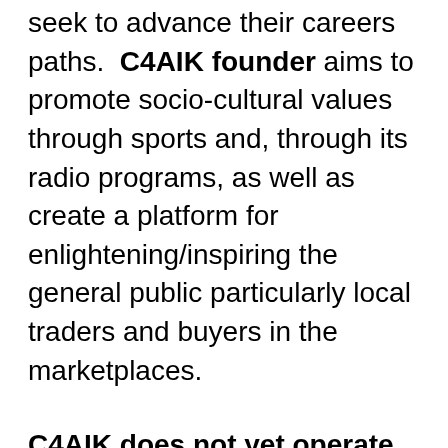seek to advance their careers paths. C4AIK founder aims to promote socio-cultural values through sports and, through its radio programs, as well as create a platform for enlightening/inspiring the general public particularly local traders and buyers in the marketplaces.
C4AIK does not yet operate as a fully funded entity. Its current funding comes from Independent Teaming Agreements, training through INGOsphere9ia platform and